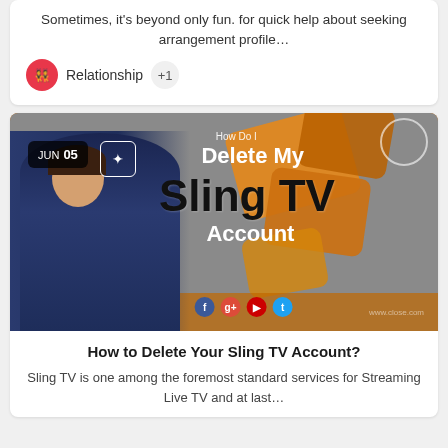Sometimes, it's beyond only fun. for quick help about seeking arrangement profile…
Relationship +1
[Figure (photo): Promotional image for 'How Do I Delete My Sling TV Account' with a man in a suit pointing and orange card shapes in the background. Date badge shows JUN 05. Social share icons at bottom.]
How to Delete Your Sling TV Account?
Sling TV is one among the foremost standard services for Streaming Live TV and at last…